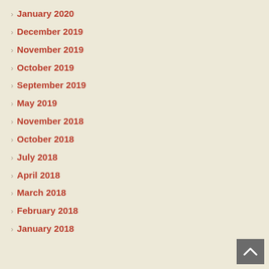> January 2020
> December 2019
> November 2019
> October 2019
> September 2019
> May 2019
> November 2018
> October 2018
> July 2018
> April 2018
> March 2018
> February 2018
> January 2018